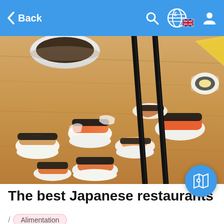Back
[Figure (photo): Close-up photo of assorted Japanese sushi pieces including nigiri with salmon, shrimp, and other toppings wrapped in nori seaweed, with chopsticks and a dipping sauce bowl visible on a wooden board.]
The best Japanese restaurants
/ Alimentation